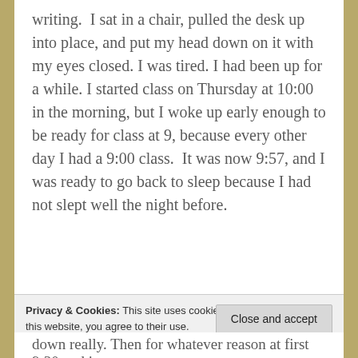writing.  I sat in a chair, pulled the desk up into place, and put my head down on it with my eyes closed. I was tired. I had been up for a while. I started class on Thursday at 10:00 in the morning, but I woke up early enough to be ready for class at 9, because every other day I had a 9:00 class.  It was now 9:57, and I was ready to go back to sleep because I had not slept well the night before.
A couple minutes later, I heard someone sit
Privacy & Cookies: This site uses cookies. By continuing to use this website, you agree to their use.
To find out more, including how to control cookies, see here:
Cookie Policy
Close and accept
down really. Then for whatever reason at first 9:30 and it